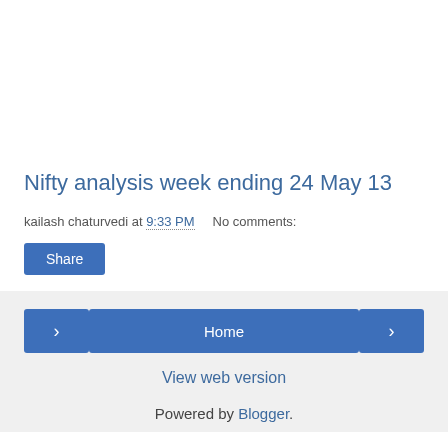Nifty analysis week ending 24 May 13
kailash chaturvedi at 9:33 PM    No comments:
Share
< Home > View web version Powered by Blogger.